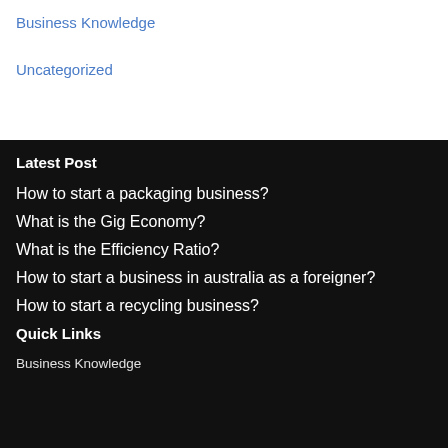Business Knowledge
Uncategorized
Latest Post
How to start a packaging business?
What is the Gig Economy?
What is the Efficiency Ratio?
How to start a business in australia as a foreigner?
How to start a recycling business?
Quick Links
Business Knowledge